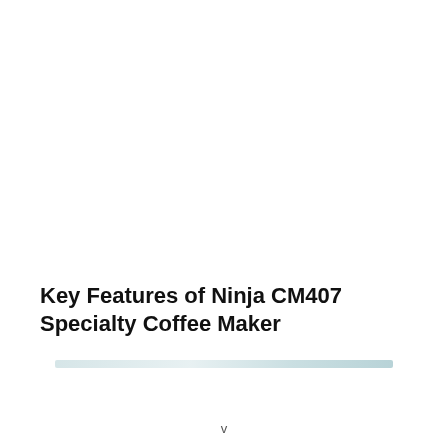Key Features of Ninja CM407 Specialty Coffee Maker
[Figure (other): Horizontal decorative divider bar with light blue-grey gradient, used as a section separator below the title.]